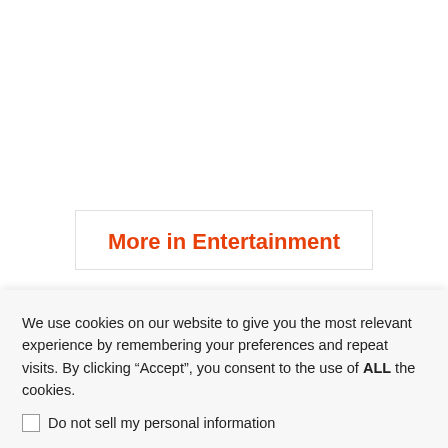More in Entertainment
We use cookies on our website to give you the most relevant experience by remembering your preferences and repeat visits. By clicking “Accept”, you consent to the use of ALL the cookies.
Do not sell my personal information
Cookie Settings | Accept